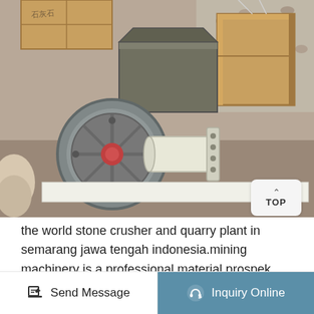[Figure (photo): A stone crusher machine photographed outdoors. Shows a heavy industrial roller crusher with a large gray flywheel with red center, white cylindrical motor/shaft housing with bolt flange, a metal hopper box above, and wooden frame structure to the right. Background shows gravel/aggregate material.]
the world stone crusher and quarry plant in semarang jawa tengah indonesia.mining machinery is a professional material prospek stone crusher di jawa tengah home. get price hubungan intensitas suara dengan tekanan darah crusher batu jawa timur jawa timur
Send Message  |  Inquiry Online